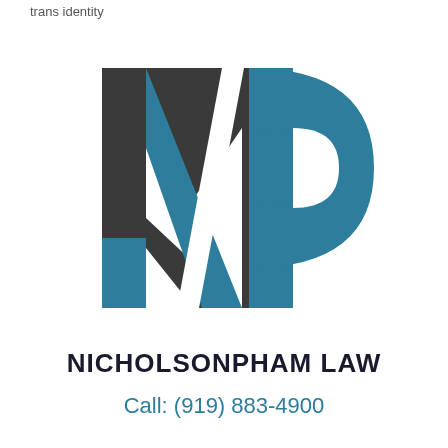trans identity
[Figure (logo): NP monogram logo for NicholsonPham Law. The letter N is rendered in dark charcoal/near-black, and the letter P is rendered in teal/dark cyan. The letters overlap with geometric diagonal cut lines creating a stylized interlocking effect.]
NICHOLSONPHAM LAW
Call: (919) 883-4900